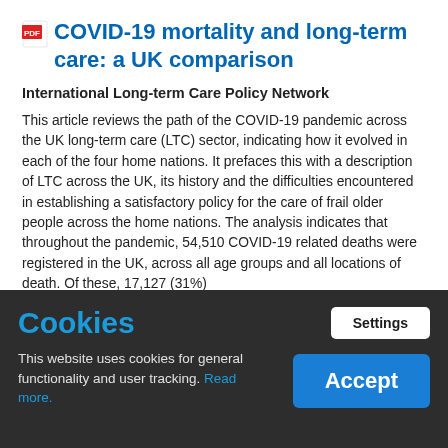COVID-19 mortality and long-term care: a UK comparison
International Long-term Care Policy Network
This article reviews the path of the COVID-19 pandemic across the UK long-term care (LTC) sector, indicating how it evolved in each of the four home nations. It prefaces this with a description of LTC across the UK, its history and the difficulties encountered in establishing a satisfactory policy for the care of frail older people across the home nations. The analysis indicates that throughout the pandemic, 54,510 COVID-19 related deaths were registered in the UK, across all age groups and all locations of death. Of these, 17,127 (31%)
Cookies
Settings
This website uses cookies for general functionality and user tracking. Read more.
Accept